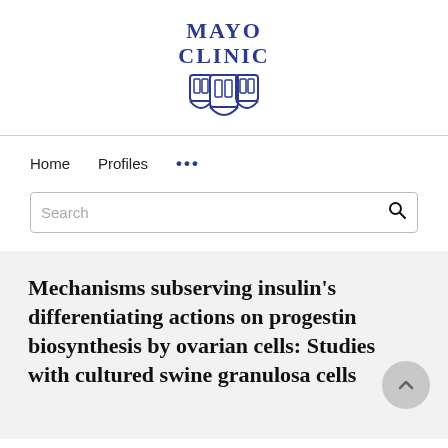[Figure (logo): Mayo Clinic logo with text 'MAYO CLINIC' and three shield emblems in navy blue]
Home   Profiles   ...
Search
Mechanisms subserving insulin's differentiating actions on progestin biosynthesis by ovarian cells: Studies with cultured swine granulosa cells